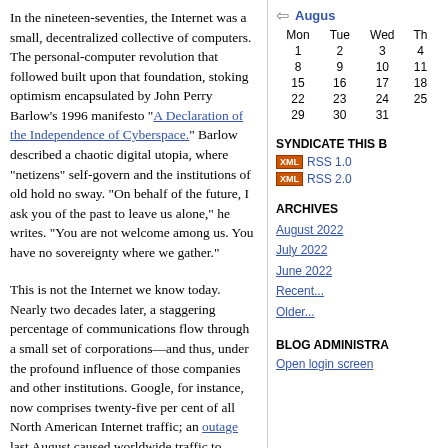In the nineteen-seventies, the Internet was a small, decentralized collective of computers. The personal-computer revolution that followed built upon that foundation, stoking optimism encapsulated by John Perry Barlow's 1996 manifesto "A Declaration of the Independence of Cyberspace." Barlow described a chaotic digital utopia, where "netizens" self-govern and the institutions of old hold no sway. "On behalf of the future, I ask you of the past to leave us alone," he writes. "You are not welcome among us. You have no sovereignty where we gather."
This is not the Internet we know today. Nearly two decades later, a staggering percentage of communications flow through a small set of corporations—and thus, under the profound influence of those companies and other institutions. Google, for instance, now comprises twenty-five per cent of all North American Internet traffic; an outage last August caused worldwide traffic to plummet by around forty per cent.
Engineers anticipated this convergence. As early as 1967, one of the key architects of the system for exchanging small packets of data that gave
| Mon | Tue | Wed | Thu |
| --- | --- | --- | --- |
| 1 | 2 | 3 | 4 |
| 8 | 9 | 10 | 11 |
| 15 | 16 | 17 | 18 |
| 22 | 23 | 24 | 25 |
| 29 | 30 | 31 |  |
SYNDICATE THIS B
RSS 1.0
RSS 2.0
ARCHIVES
August 2022
July 2022
June 2022
Recent...
Older...
BLOG ADMINISTRA
Open login screen